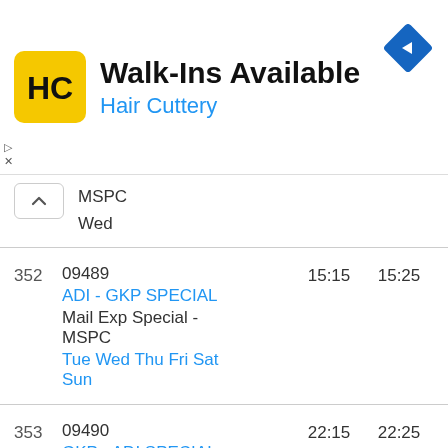[Figure (logo): Hair Cuttery advertisement banner with yellow logo, Walk-Ins Available text, and navigation arrow icon]
MSPC
Wed
| # | Train | Dep | Arr |
| --- | --- | --- | --- |
| 352 | 09489
ADI - GKP SPECIAL
Mail Exp Special - MSPC
Tue Wed Thu Fri Sat Sun | 15:15 | 15:25 |
| 353 | 09490
GKP - ADI SPECIAL
Mail Exp Special - MSPC
Tue Thu Fri Sat Sun Mon | 22:15 | 22:25 |